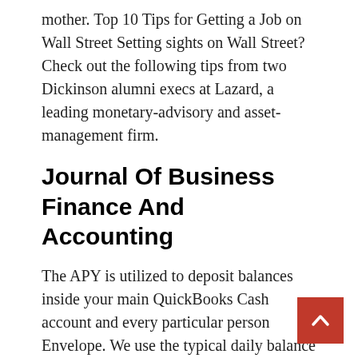mother. Top 10 Tips for Getting a Job on Wall Street Setting sights on Wall Street? Check out the following tips from two Dickinson alumni execs at Lazard, a leading monetary-advisory and asset-management firm.
Journal Of Business Finance And Accounting
The APY is utilized to deposit balances inside your main QuickBooks Cash account and every particular person Envelope. We use the typical daily balance methodology to calculate curiosity in your Finance account. Same-Day Deposit obtainable to QuickBooks Online Payroll Premium and Elite users. Payroll processed before 7AM shall arrive the identical business day. Same-Day